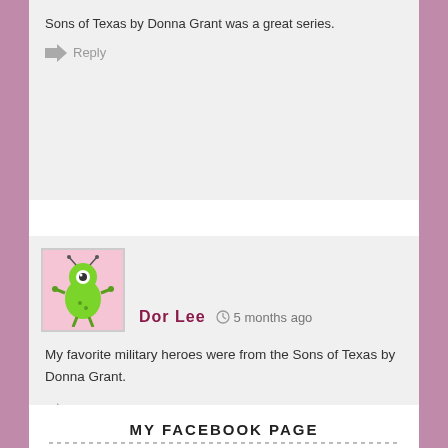Sons of Texas by Donna Grant was a great series.
Reply
Dor Lee  5 months ago
My favorite military heroes were from the Sons of Texas by Donna Grant.
Reply
MY FACEBOOK PAGE